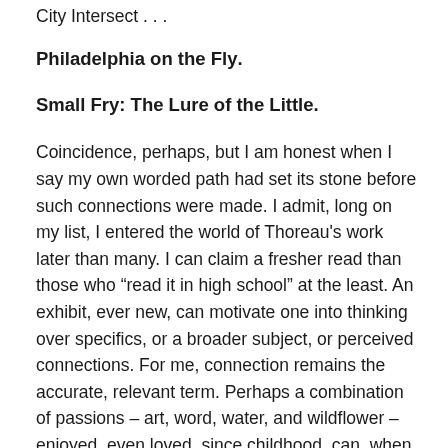City Intersect . . .
Philadelphia on the Fly.
Small Fry: The Lure of the Little.
Coincidence, perhaps, but I am honest when I say my own worded path had set its stone before such connections were made. I admit, long on my list, I entered the world of Thoreau's work later than many. I can claim a fresher read than those who “read it in high school” at the least. An exhibit, ever new, can motivate one into thinking over specifics, or a broader subject, or perceived connections. For me, connection remains the accurate, relevant term. Perhaps a combination of passions – art, word, water, and wildflower – enjoyed, even loved, since childhood, can, when combined with persistence, write long passages in the manner of Henry James, or even precise florid prose